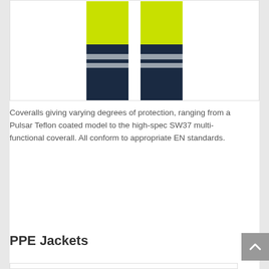[Figure (photo): High-visibility coverall trousers in yellow-green with dark navy knee panels and silver reflective bands, shown from the waist down.]
Coveralls giving varying degrees of protection, ranging from a Pulsar Teflon coated model to the high-spec SW37 multi-functional coverall. All conform to appropriate EN standards.
View Products
PPE Jackets